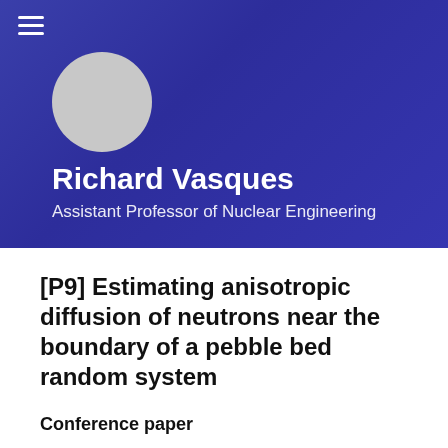[Figure (photo): Profile avatar placeholder circle on blue gradient header background]
Richard Vasques
Assistant Professor of Nuclear Engineering
[P9] Estimating anisotropic diffusion of neutrons near the boundary of a pebble bed random system
Conference paper